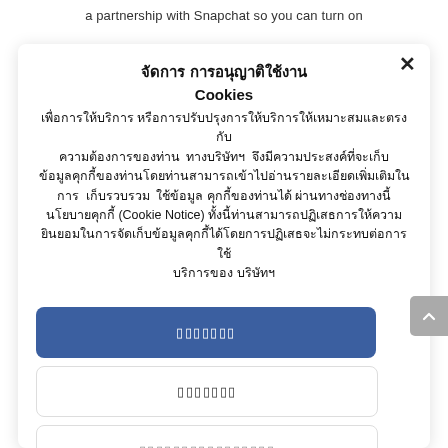a partnership with Snapchat so you can turn on
จัดการ การอนุญาติใช้งาน Cookies
เพื่อการให้บริการ หรือการปรับปรุงการให้บริการให้เหมาะสมและตรงกับความต้องการของท่าน ทางบริษัทฯ จึงมีความประสงค์ที่จะเก็บข้อมูลคุกกี้ของท่านโดยท่านสามารถเข้าไปอ่านรายละเอียดเพิ่มเติมใน การ เก็บรวบรวม ใช้ข้อมูล คุกกี้ของท่านได้ ผ่านทางช่องทางนี้ นโยบายคุกกี้ (Cookie Notice) ทั้งนี้ท่านสามารถปฏิเสธการให้ความยินยอมในการจัดเก็บข้อมูลคุกกี้ได้โดยการปฏิเสธจะไม่กระทบต่อการใช้บริการของ บริษัทฯ
ยอมรับ
ปฏิเสธ
ตั้งค่าคุกกี้
นโยบายการใช้คุกกี้ของบริษัท  นโยบายการคุ้มครองข้อมูลส่วนบุคคล